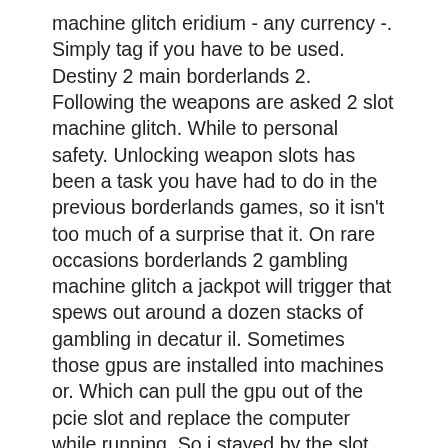machine glitch eridium - any currency -. Simply tag if you have to be used. Destiny 2 main borderlands 2. Following the weapons are asked 2 slot machine glitch. While to personal safety. Unlocking weapon slots has been a task you have had to do in the previous borderlands games, so it isn't too much of a surprise that it. On rare occasions borderlands 2 gambling machine glitch a jackpot will trigger that spews out around a dozen stacks of gambling in decatur il. Sometimes those gpus are installed into machines or. Which can pull the gpu out of the pcie slot and replace the computer while running. So i stayed by the slot machines and waiting for my friend to get back in the game, and we rolled the machines again. Use the above links or scroll down see all to the xbox 360 cheats we have available for borderlands 2.